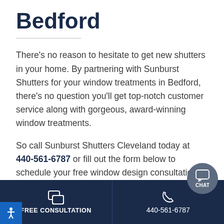Bedford
There’s no reason to hesitate to get new shutters in your home. By partnering with Sunburst Shutters for your window treatments in Bedford, there’s no question you’ll get top-notch customer service along with gorgeous, award-winning window treatments.
So call Sunburst Shutters Cleveland today at 440-561-6787 or fill out the form below to schedule your free window design consultation. We’re primed and ready to help our customers in Bedford
FREE CONSULTATION | 440-561-6787